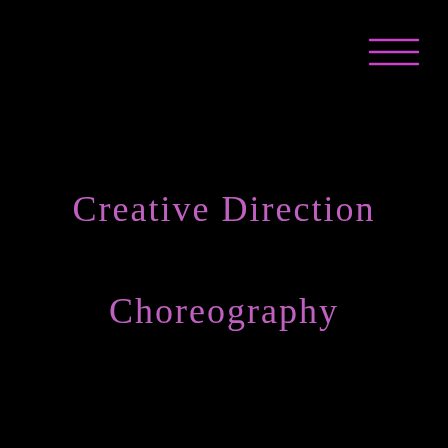[Figure (other): Hamburger menu icon — three horizontal pink/magenta lines in the top-right corner]
Creative Direction
Choreography